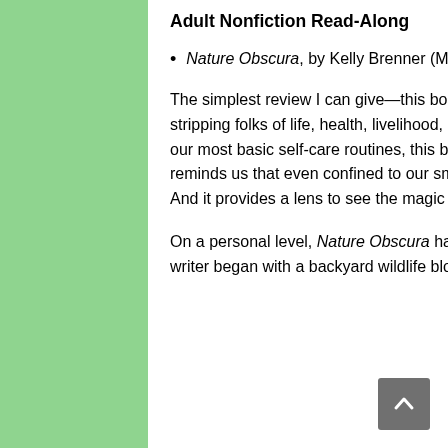Adult Nonfiction Read-Along
Nature Obscura, by Kelly Brenner (Mountaineers Books, 2020)
The simplest review I can give—this book is a gift. In the midst of a world crisis that at its worst is stripping folks of life, health, livelihood, and home, and at best is challenging our ability to maintain our most basic self-care routines, this book reminds us that wonder is to be found everywhere. It reminds us that even confined to our smallest range, we are part of nature, not separate from it. And it provides a lens to see the magic of the everyday nature that surrounds us.
On a personal level, Nature Obscura has brought me back to my roots. My career as a nonfiction writer began with a backyard wildlife blog around 11 years ago. As I got